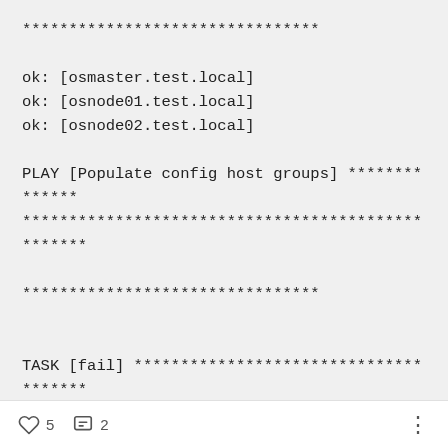********************************

ok: [osmaster.test.local]
ok: [osnode01.test.local]
ok: [osnode02.test.local]

PLAY [Populate config host groups] **************
**************************************************

********************************


TASK [fail] **************************************
**************************************************

********************************

 [WARNING]: when statements should not includ
e jinja2 templating delimiters such as {{ }} or {%
5  2